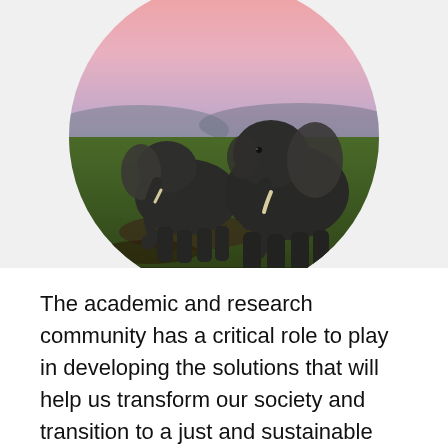[Figure (photo): Two African elephants standing on a green savanna grassland with a pink and purple sunset sky in the background, displayed in a circular crop.]
The academic and research community has a critical role to play in developing the solutions that will help us transform our society and transition to a just and sustainable green economy. To ensure their voices were heard as Stockholm+50